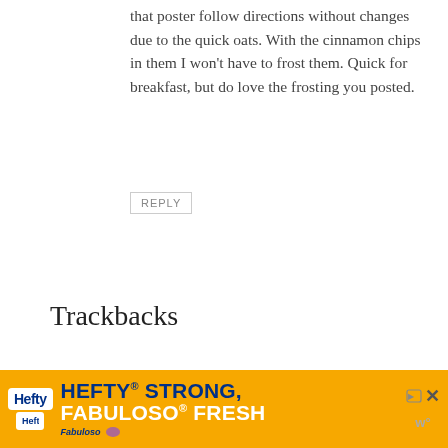that poster follow directions without changes due to the quick oats. With the cinnamon chips in them I won't have to frost them. Quick for breakfast, but do love the frosting you posted.
REPLY
Trackbacks
stumble upon! by baybay3 – Pearltrees
says:
December 13, 2011 at 8:11 pm
[...] Oatmeal Cupcakes with Cinnamon Sugar Frosting Recipe | Created by Diana
[Figure (infographic): Hefty HEFTY STRONG, FABULOSO FRESH advertisement banner with orange background, Hefty logo, Fabuloso logo, and close buttons]